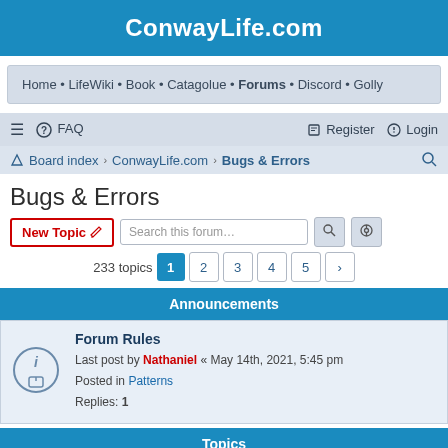ConwayLife.com
Home • LifeWiki • Book • Catagolue • Forums • Discord • Golly
≡  ? FAQ    Register  Login
Board index › ConwayLife.com › Bugs & Errors
Bugs & Errors
New Topic  Search this forum…  233 topics  1 2 3 4 5 >
Announcements
Forum Rules
Last post by Nathaniel « May 14th, 2021, 5:45 pm
Posted in Patterns
Replies: 1
Topics
Golly bugs
Last post by ...